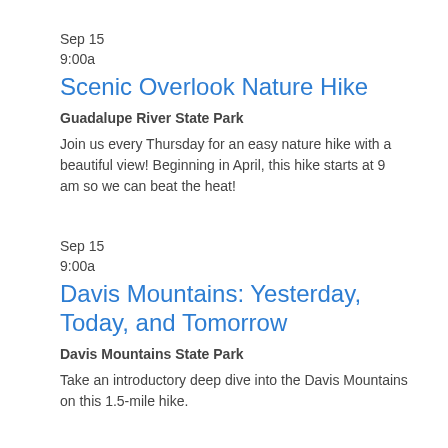Sep 15
9:00a
Scenic Overlook Nature Hike
Guadalupe River State Park
Join us every Thursday for an easy nature hike with a beautiful view! Beginning in April, this hike starts at 9 am so we can beat the heat!
Sep 15
9:00a
Davis Mountains: Yesterday, Today, and Tomorrow
Davis Mountains State Park
Take an introductory deep dive into the Davis Mountains on this 1.5-mile hike.